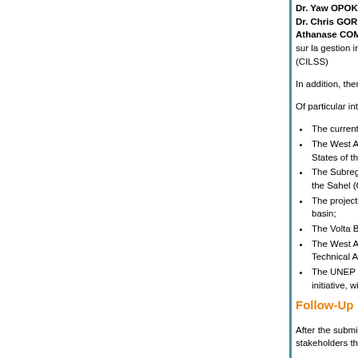Dr. Yaw OPOKU-ANKOMAH, Regional Co-ordinator, Dr. Chris GORDON, Volta Basin Research Project, Ce Athanase COMPAORE, President, Secrétariat intéri sur la gestion intégrée des ressources en eau, Comi (CILSS)
In addition, there exist in the subregion a number o project will coordinate in order to create a synergy of a
Of particular interest to this project are:
The current study of Green Cross on the preve
The West African Process on Integrated Water States of the ECOWAS (CEDEAO) and Maurita
The Subregional Action Plan (PASR) of the Inte the Sahel (CILSS);
The project of integrated water and land resou basin;
The Volta Basin Research Project in Ghana;
The West African Technical Advisory Committee (WATAC) of the
The UNEP and World Bank/GEF inter-state int initiative, within which Green Cross is already a
Follow-Up
After the submission of the final reports and recomm extensive analysis so as to guarantee the continuatio the States and stakeholders that will be proposed. T water resources management requires the establis